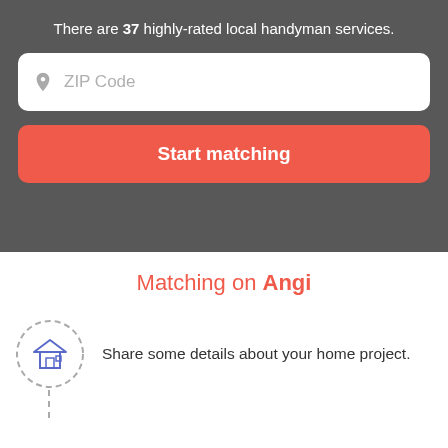There are 37 highly-rated local handyman services.
[Figure (screenshot): ZIP Code input field with location pin icon]
Start matching
Matching on Angi
Share some details about your home project.